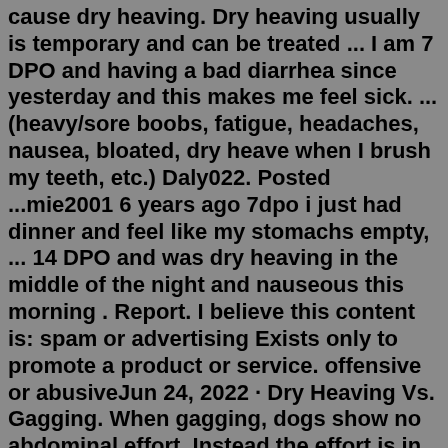cause dry heaving. Dry heaving usually is temporary and can be treated ... I am 7 DPO and having a bad diarrhea since yesterday and this makes me feel sick. ... (heavy/sore boobs, fatigue, headaches, nausea, bloated, dry heave when I brush my teeth, etc.) Daly022. Posted ...mie2001 6 years ago 7dpo i just had dinner and feel like my stomachs empty, ... 14 DPO and was dry heaving in the middle of the night and nauseous this morning . Report. I believe this content is: spam or advertising Exists only to promote a product or service. offensive or abusiveJun 24, 2022 · Dry Heaving Vs. Gagging. When gagging, dogs show no abdominal effort. Instead the effort is in the chest. Gagging may produce a small amount of foamy saliva in addition to whatever was caught in your dog's throat. It might sound like your dog has a hairball. Dry Heaving Vs. Coughing in Dogs. Cat Dry Heaving / Raspy Cough Our cat, for the past two or three months, has been dry heaving / raspy coughing. We assumed it was a hairball and have been trying the hairball remedies but she hasn't been able to pass it at